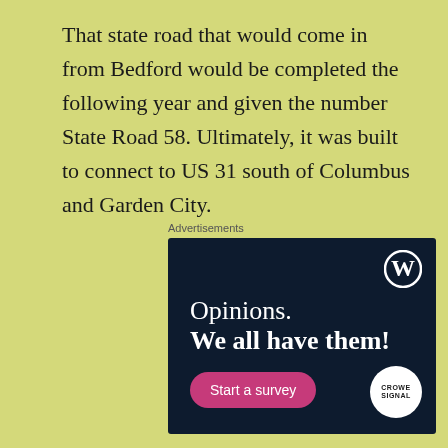That state road that would come in from Bedford would be completed the following year and given the number State Road 58. Ultimately, it was built to connect to US 31 south of Columbus and Garden City.
Advertisements
[Figure (infographic): Dark navy advertisement for WordPress/Crowdsignal survey tool. Shows WordPress logo (W in circle) at top right, text 'Opinions. We all have them!' in white, a pink 'Start a survey' button at bottom left, and a Crowdsignal circular badge at bottom right.]